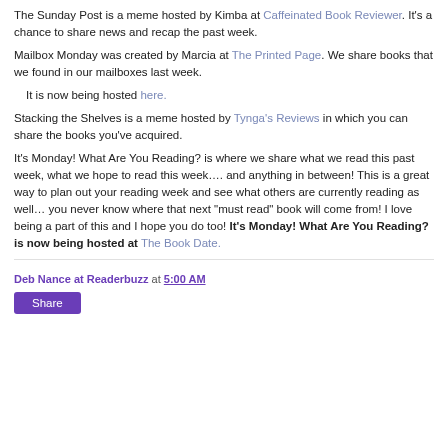The Sunday Post is a meme hosted by Kimba at Caffeinated Book Reviewer. It's a chance to share news and recap the past week.
Mailbox Monday was created by Marcia at The Printed Page. We share books that we found in our mailboxes last week.
It is now being hosted here.
Stacking the Shelves is a meme hosted by Tynga's Reviews in which you can share the books you've acquired.
It's Monday! What Are You Reading? is where we share what we read this past week, what we hope to read this week…. and anything in between!  This is a great way to plan out your reading week and see what others are currently reading as well… you never know where that next "must read" book will come from! I love being a part of this and I hope you do too! It's Monday! What Are You Reading? is now being hosted at The Book Date.
Deb Nance at Readerbuzz at 5:00 AM
Share